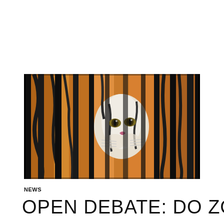[Figure (photo): A tiger viewed through black vertical cage bars at a zoo, close-up of the tiger's face with orange, black, and white stripes visible between the bars.]
NEWS
OPEN DEBATE: DO ZOOS